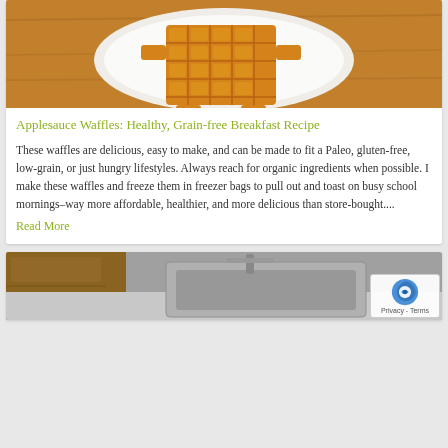[Figure (photo): Photo of golden brown waffles shaped into a person/gingerbread man shape on a white plate on a wooden surface]
Applesauce Waffles: Healthy, Grain-free Breakfast Recipe
These waffles are delicious, easy to make, and can be made to fit a Paleo, gluten-free, low-grain, or just hungry lifestyles. Always reach for organic ingredients when possible. I make these waffles and freeze them in freezer bags to pull out and toast on busy school mornings–way more affordable, healthier, and more delicious than store-bought....
Read More
[Figure (photo): Photo of a kitchen sink area with stainless steel sink and surrounding kitchen items]